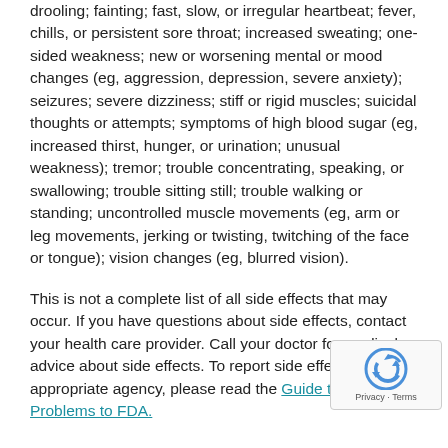drooling; fainting; fast, slow, or irregular heartbeat; fever, chills, or persistent sore throat; increased sweating; one-sided weakness; new or worsening mental or mood changes (eg, aggression, depression, severe anxiety); seizures; severe dizziness; stiff or rigid muscles; suicidal thoughts or attempts; symptoms of high blood sugar (eg, increased thirst, hunger, or urination; unusual weakness); tremor; trouble concentrating, speaking, or swallowing; trouble sitting still; trouble walking or standing; uncontrolled muscle movements (eg, arm or leg movements, jerking or twisting, twitching of the face or tongue); vision changes (eg, blurred vision).
This is not a complete list of all side effects that may occur. If you have questions about side effects, contact your health care provider. Call your doctor for medical advice about side effects. To report side effects to the appropriate agency, please read the Guide to Reporting Problems to FDA.